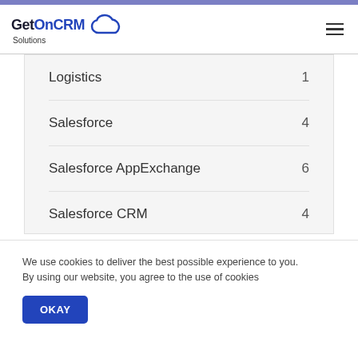GetOnCRM Solutions
Logistics 1
Salesforce 4
Salesforce AppExchange 6
Salesforce CRM 4
Salesforce Einstein 3
We use cookies to deliver the best possible experience to you. By using our website, you agree to the use of cookies